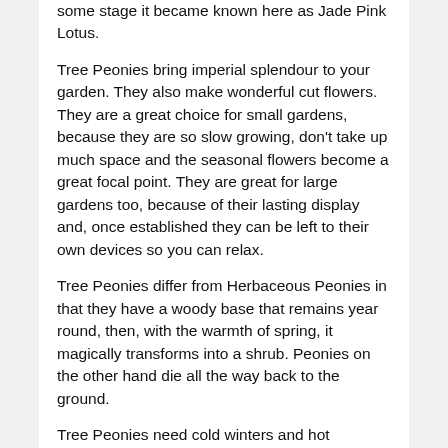some stage it became known here as Jade Pink Lotus.
Tree Peonies bring imperial splendour to your garden. They also make wonderful cut flowers. They are a great choice for small gardens, because they are so slow growing, don't take up much space and the seasonal flowers become a great focal point. They are great for large gardens too, because of their lasting display and, once established they can be left to their own devices so you can relax.
Tree Peonies differ from Herbaceous Peonies in that they have a woody base that remains year round, then, with the warmth of spring, it magically transforms into a shrub. Peonies on the other hand die all the way back to the ground.
Tree Peonies need cold winters and hot summers for best flowers. Water to establish, then you only need worry if rainfall is low. They